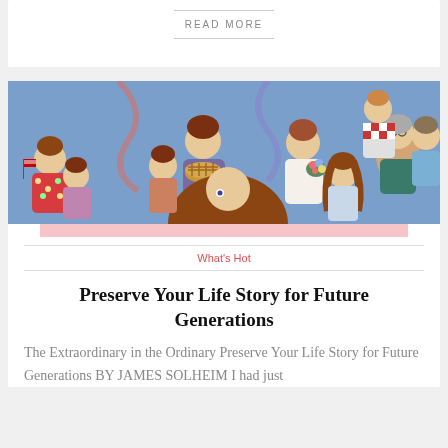READ MORE
[Figure (illustration): Illustrated cartoon characters — a group of diverse animated women/girls in colorful clothing on a blue background]
What's Hot
Preserve Your Life Story for Future Generations
The Extraordinary in the Ordinary Preserve Your Life Story for Future Generations BY JAMES SOLHEIM I had just